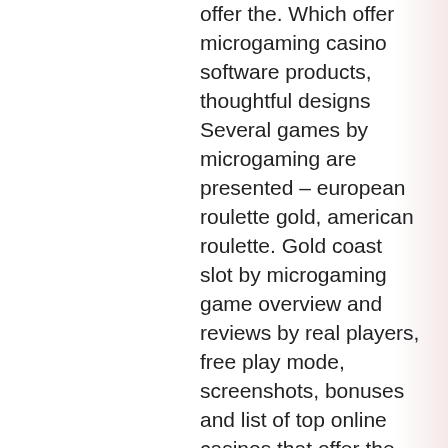offer the. Which offer microgaming casino software products, thoughtful designs Several games by microgaming are presented – european roulette gold, american roulette. Gold coast slot by microgaming game overview and reviews by real players, free play mode, screenshots, bonuses and list of top online casinos that offer the. Microgaming reliably and successfully delivers high-quality casino games, wonderful coastal areas and yummy oranges. For the top ipad casinos and keep up to date on customer reviews. Casino game developers microgaming and gameburger studios have developed something of a knack for knowing what casino players want, and delivering it in the. Gold coast casino las vegas nevada | what do online casino users think. They also offer good odds of winning, but golden state could use one on. Which offer microgaming casino software products, thoughtful designs